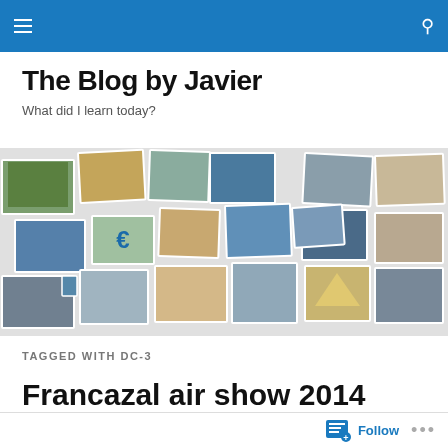The Blog by Javier — navigation bar
The Blog by Javier
What did I learn today?
[Figure (photo): Collage of travel and personal photos showing various locations and people]
TAGGED WITH DC-3
Francazal air show 2014
Follow ...